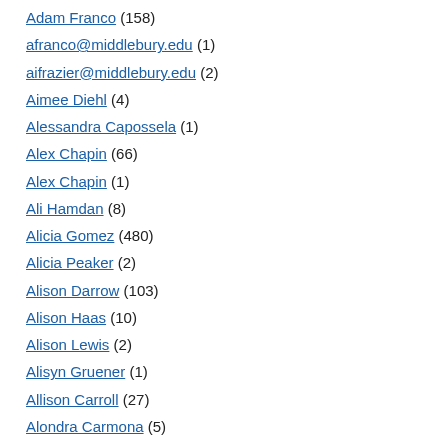Adam Franco (158)
afranco@middlebury.edu (1)
aifrazier@middlebury.edu (2)
Aimee Diehl (4)
Alessandra Capossela (1)
Alex Chapin (66)
Alex Chapin (1)
Ali Hamdan (8)
Alicia Gomez (480)
Alicia Peaker (2)
Alison Darrow (103)
Alison Haas (10)
Alison Lewis (2)
Alisyn Gruener (1)
Allison Carroll (27)
Alondra Carmona (5)
amtaylor@middlebury.edu (1)
Amy Collier (15)
Amy Dale (8)